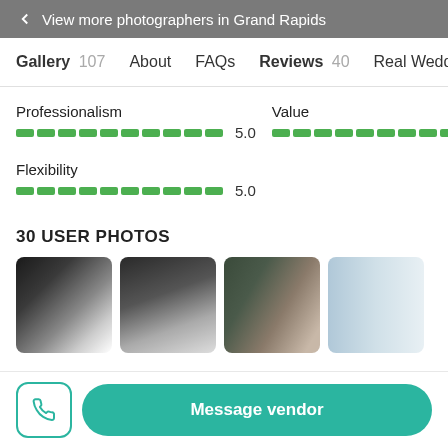← View more photographers in Grand Rapids
Gallery 107   About   FAQs   Reviews 40   Real Weddings
Professionalism
5.0
Value
5.0
Flexibility
5.0
30 USER PHOTOS
[Figure (photo): Wedding dress detail in black and white]
[Figure (photo): Wedding dress train in black and white]
[Figure (photo): Groom laughing with bride]
[Figure (photo): Interior window view]
Message vendor